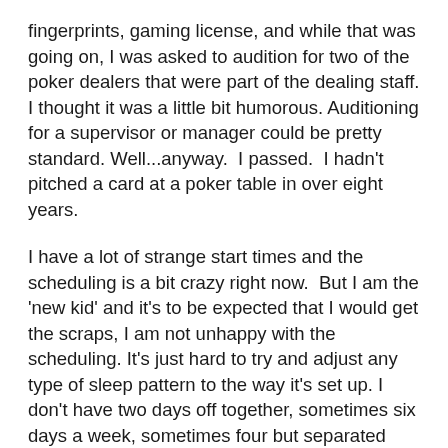fingerprints, gaming license, and while that was going on, I was asked to audition for two of the poker dealers that were part of the dealing staff. I thought it was a little bit humorous. Auditioning for a supervisor or manager could be pretty standard. Well...anyway. I passed. I hadn't pitched a card at a poker table in over eight years.
I have a lot of strange start times and the scheduling is a bit crazy right now. But I am the 'new kid' and it's to be expected that I would get the scraps, I am not unhappy with the scheduling. It's just hard to try and adjust any type of sleep pattern to the way it's set up. I don't have two days off together, sometimes six days a week, sometimes four but separated with a day off in between.
I think I've been working for five weeks but who is keeping track. I don't believe I will write much about the poker games or the employees or the casino. One reason is because I would probably be fired. But the main reason is because this is the